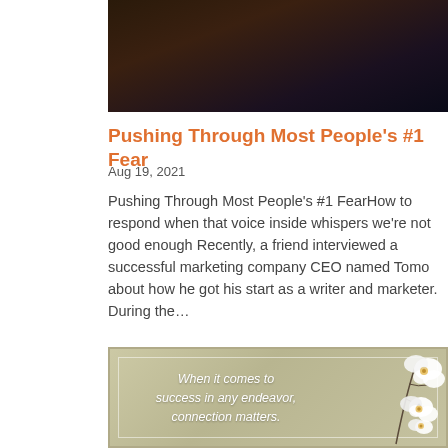[Figure (photo): Dark photograph partially visible at the top, showing what appears to be a person against a dark background.]
Pushing Through Most People's #1 Fear
Aug 19, 2021
Pushing Through Most People's #1 FearHow to respond when that voice inside whispers we're not good enough Recently, a friend interviewed a successful marketing company CEO named Tomo about how he got his start as a writer and marketer. During the…
[Figure (illustration): Olive/tan textured background card with white italic text reading 'When it comes to success in any endeavor, connection matters.' White orchid flowers on the right side.]